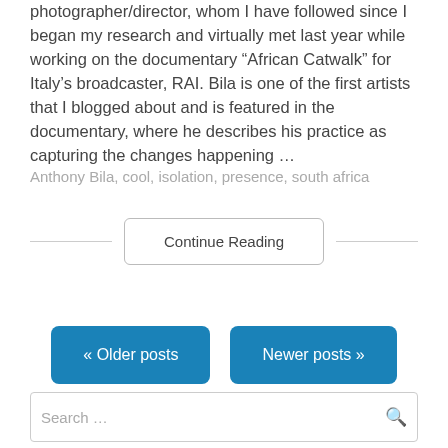photographer/director, whom I have followed since I began my research and virtually met last year while working on the documentary “African Catwalk” for Italy’s broadcaster, RAI. Bila is one of the first artists that I blogged about and is featured in the documentary, where he describes his practice as capturing the changes happening …
Anthony Bila, cool, isolation, presence, south africa
Continue Reading
« Older posts
Newer posts »
Search …